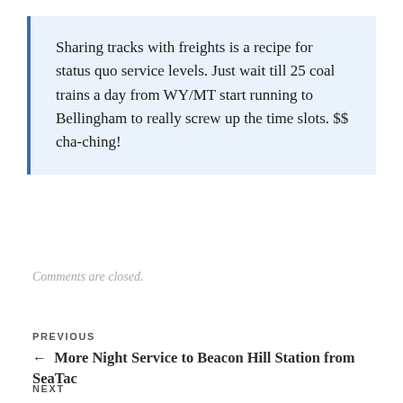Sharing tracks with freights is a recipe for status quo service levels. Just wait till 25 coal trains a day from WY/MT start running to Bellingham to really screw up the time slots. $$ cha-ching!
Comments are closed.
PREVIOUS
← More Night Service to Beacon Hill Station from SeaTac
NEXT